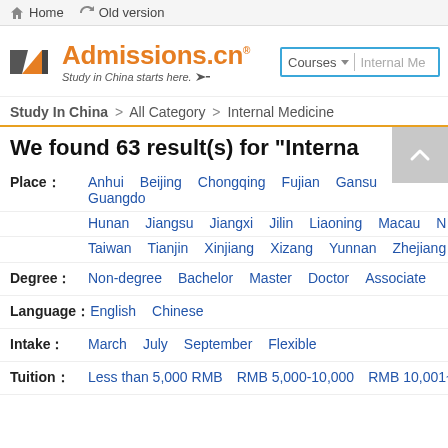Home  Old version
[Figure (logo): Admissions.cn logo with orange geometric icon and tagline 'Study in China starts here.' with search box showing 'Courses' dropdown and 'Internal Me' placeholder text]
Study In China > All Category > Internal Medicine
We found 63 result(s) for "Internal Me..."
Place: Anhui  Beijing  Chongqing  Fujian  Gansu  Guangdo... Hunan  Jiangsu  Jiangxi  Jilin  Liaoning  Macau  N... Taiwan  Tianjin  Xinjiang  Xizang  Yunnan  Zhejiang
Degree: Non-degree  Bachelor  Master  Doctor  Associate
Language: English  Chinese
Intake: March  July  September  Flexible
Tuition: Less than 5,000 RMB  RMB 5,000-10,000  RMB 10,001~15...